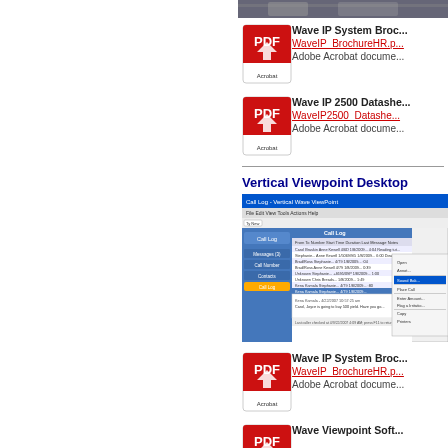[Figure (screenshot): Top hardware/device photo strip, cropped]
[Figure (logo): PDF icon for Wave IP System Brochure]
Wave IP System Broc...
WaveIP_BrochureHR.p...
Adobe Acrobat docume...
[Figure (logo): PDF icon for Wave IP 2500 Datasheet]
Wave IP 2500 Datashe...
WaveIP2500_Datashe...
Adobe Acrobat docume...
Vertical Viewpoint Desktop
[Figure (screenshot): Screenshot of Vertical Wave ViewPoint desktop application showing Call Log window]
[Figure (logo): PDF icon for Wave IP System Brochure (second)]
Wave IP System Broc...
WaveIP_BrochureHR.p...
Adobe Acrobat docume...
[Figure (logo): PDF icon for Wave Viewpoint Soft...]
Wave Viewpoint Soft...